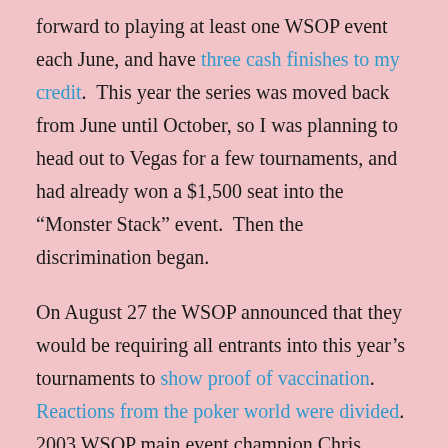forward to playing at least one WSOP event each June, and have three cash finishes to my credit.  This year the series was moved back from June until October, so I was planning to head out to Vegas for a few tournaments, and had already won a $1,500 seat into the “Monster Stack” event.  Then the discrimination began.
On August 27 the WSOP announced that they would be requiring all entrants into this year’s tournaments to show proof of vaccination.  Reactions from the poker world were divided.  2003 WSOP main event champion Chris Moneymaker, who gave hope to millions and started the poker boom by winning without being a very good player, previously had planned to sit out the series because he doesn’t understand odds and was afraid to play, but now is thanking the WSOP for their intrusive